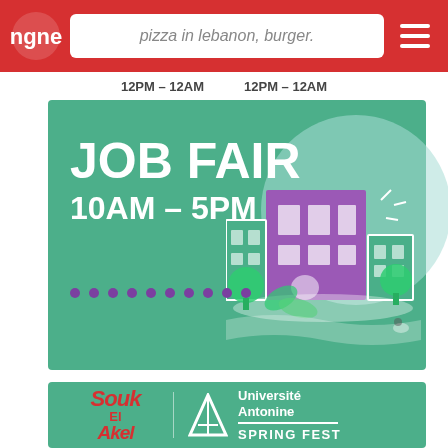pizza in lebanon, burger.
12PM – 12AM   12PM – 12AM
[Figure (infographic): Job Fair banner on teal/green background showing 'JOB FAIR 10AM – 5PM' text in bold white letters, purple dots row, and an illustrated university building with trees and water]
[Figure (infographic): Spring Fest banner for Université Antonine with Souk El Akel logo on teal background]